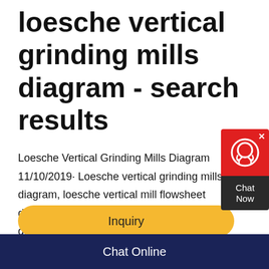loesche vertical grinding mills diagram - search results
Loesche Vertical Grinding Mills Diagram 11/10/2019· Loesche vertical grinding mills diagram, loesche vertical mill flowsheet diagrams jun the roller loesche vertical grinding mills diagram - search results
[Figure (other): Chat Now widget with red top section containing headset icon and dark bottom section with 'Chat Now' text]
Inquiry
Chat Online